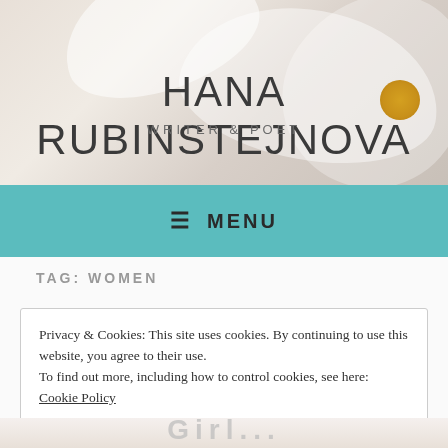[Figure (photo): Website header with a soft floral background showing white flower petals with a golden center. The site name 'HANA RUBINSTEJNOVA' and tagline 'WRITER & POET' are overlaid.]
HANA RUBINSTEJNOVA
WRITER & POET
MENU
TAG: WOMEN
Privacy & Cookies: This site uses cookies. By continuing to use this website, you agree to their use.
To find out more, including how to control cookies, see here: Cookie Policy
Close and accept